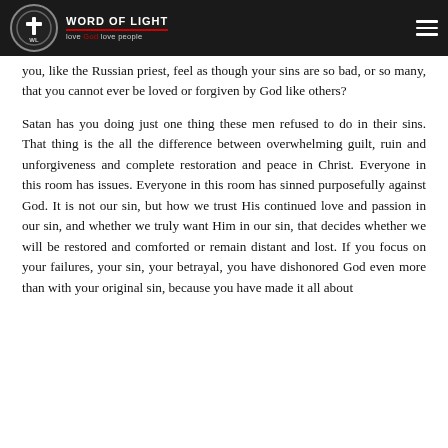Word of Light — love God love people
you, like the Russian priest, feel as though your sins are so bad, or so many, that you cannot ever be loved or forgiven by God like others?
Satan has you doing just one thing these men refused to do in their sins. That thing is the all the difference between overwhelming guilt, ruin and unforgiveness and complete restoration and peace in Christ. Everyone in this room has issues. Everyone in this room has sinned purposefully against God. It is not our sin, but how we trust His continued love and passion in our sin, and whether we truly want Him in our sin, that decides whether we will be restored and comforted or remain distant and lost. If you focus on your failures, your sin, your betrayal, you have dishonored God even more than with your original sin, because you have made it all about